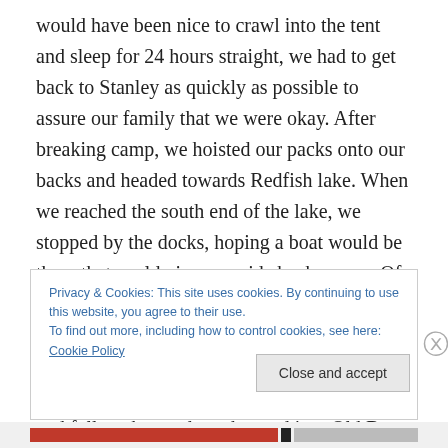would have been nice to crawl into the tent and sleep for 24 hours straight, we had to get back to Stanley as quickly as possible to assure our family that we were okay. After breaking camp, we hoisted our packs onto our backs and headed towards Redfish lake. When we reached the south end of the lake, we stopped by the docks, hoping a boat would be there that could give us a ride back across. Of course, there wasn't. We filled up our waters, ate a quick snack, and headed up the switchbacks — finally reaching the trailhead parking lot a few hours later. Completely sore and fully exhausted, we hopped into Old Betsy and
Privacy & Cookies: This site uses cookies. By continuing to use this website, you agree to their use.
To find out more, including how to control cookies, see here: Cookie Policy
Close and accept